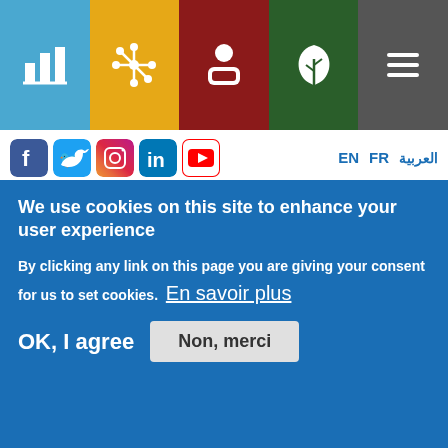[Figure (screenshot): Top navigation bar with 5 colored tiles containing white icons: blue (chart icon), orange (asterisk/hub icon), dark red (person icon), dark green (leaf icon), dark gray (hamburger menu icon)]
[Figure (screenshot): Social media icons row: Facebook (blue), Twitter (blue), Instagram (gradient), LinkedIn (blue), YouTube (red/white). Language links on right: EN, FR, العربية in blue.]
Documents de référence
Notre héritage
Politique antifraude
Appels à propositions
Appel à projets standard
We use cookies on this site to enhance your user experience
By clicking any link on this page you are giving your consent for us to set cookies.  En savoir plus
OK, I agree    Non, merci